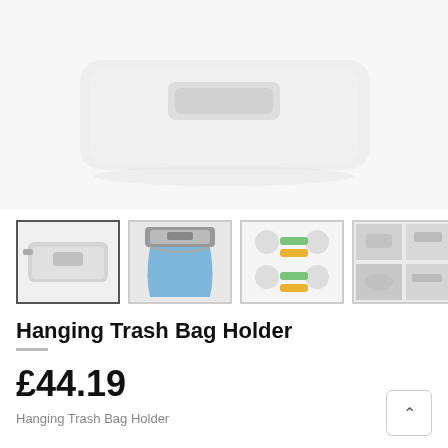[Figure (photo): Main product image showing a white plastic hanging trash bag holder bracket from above, on white background]
[Figure (photo): Thumbnail 1: product showing the metal/plastic hanging trash bag holder frame, selected/active]
[Figure (photo): Thumbnail 2: product in use with a blue trash bag hanging from it]
[Figure (photo): Thumbnail 3: infographic showing product features with green and orange labels]
[Figure (photo): Thumbnail 4: collage of 4 images showing product in use and detail shots, with next arrow button]
Hanging Trash Bag Holder
£44.19
Hanging Trash Bag Holder